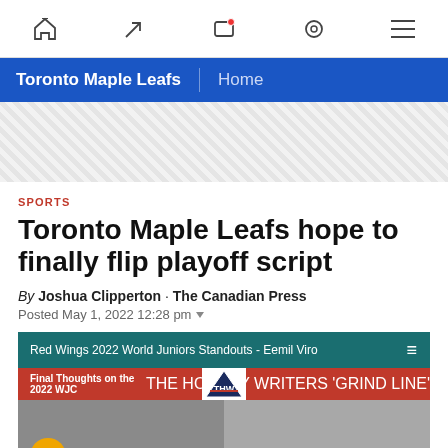Toronto Maple Leafs | Home
[Figure (screenshot): Hatched/diagonal stripe ad banner area]
SPORTS
Toronto Maple Leafs hope to finally flip playoff script
By Joshua Clipperton · The Canadian Press
Posted May 1, 2022 12:28 pm
[Figure (screenshot): Video embed: Red Wings 2022 World Juniors Standouts - Eemil Viro. The Hockey Writers Grind Line video player with red banner showing Final Thoughts on the 2022 WJC and THW logo.]